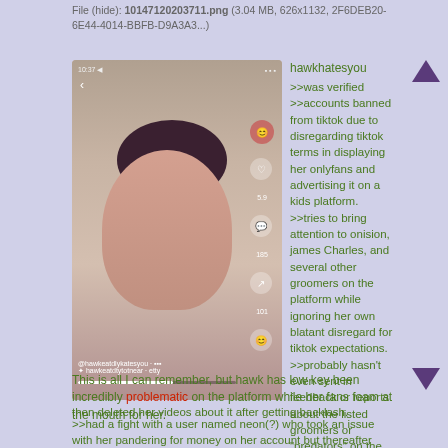File (hide): 1014720203711.png (3.04 MB, 626x1132, 2F6DEB20-6E44-4014-BBFB-D9A3A3...)
[Figure (screenshot): Screenshot of a TikTok video showing a young woman with dark hair.]
hawkhatesyou
>>was verified
>>accounts banned from tiktok due to disregarding tiktok terms in displaying her onlyfans and advertising it on a kids platform.
>>tries to bring attention to onision, james Charles, and several other groomers on the platform while ignoring her own blatant disregard for tiktok expectations.
>>probably hasn't even sent in feedback or reports about the listed groomers or "predators" on the app but complains anyway because she lacks any accountability
>>also openly defended Theoneriley after he had a scandal where he played several women then deleted her videos about it after getting backlash.
>>had a fight with a user named neon(?) who took an issue with her pandering for money on her account but thereafter deleted his account after she practically sent her fans to harass him.
This is all I can remember, but hawk has low key been incredibly problematic on the platform while her fans foam at the mouth for her.